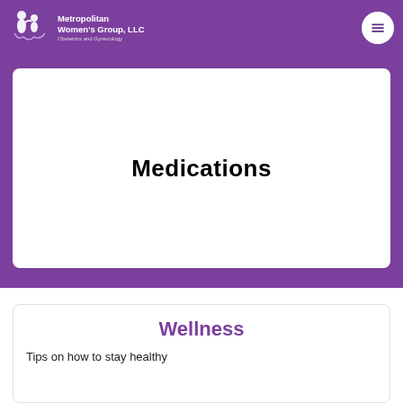Metropolitan Women's Group, LLC — Obstetrics and Gynecology
Medications
Wellness
Tips on how to stay healthy